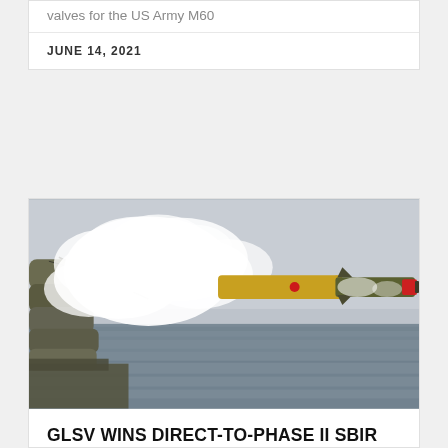valves for the US Army M60
JUNE 14, 2021
[Figure (photo): A torpedo being launched from a naval vessel over the ocean, with white smoke trailing behind it. The torpedo is yellow and olive-colored. The sea is visible in the background under a hazy sky.]
GLSV WINS DIRECT-TO-PHASE II SBIR TO REVERSE ENGINEER TORPEDO PROPELLER FOR THE US NAVY